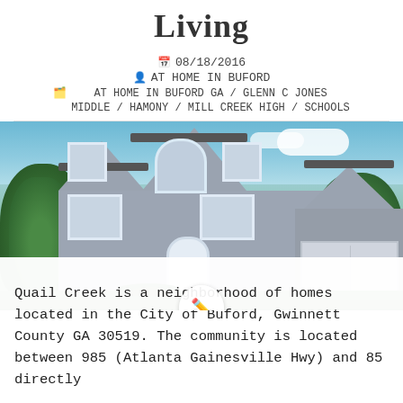Living
08/18/2016
AT HOME IN BUFORD
AT HOME IN BUFORD GA / GLENN C JONES MIDDLE / HAMONY / MILL CREEK HIGH / SCHOOLS
[Figure (photo): Exterior photo of a two-story gray stucco house with white trim, arched window above entry, three-car garage, and landscaped front yard. Blue sky with clouds and green trees visible.]
Quail Creek is a neighborhood of homes located in the City of Buford, Gwinnett County GA 30519. The community is located between 985 (Atlanta Gainesville Hwy) and 85 directly